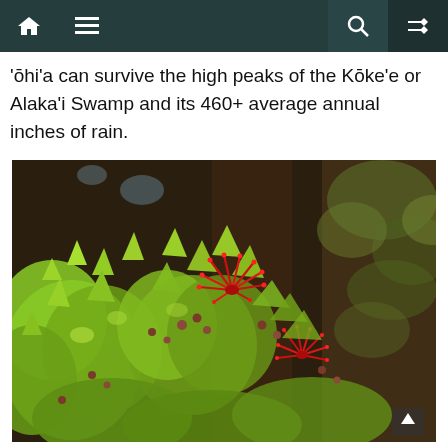Navigation bar with home, menu, search, and shuffle icons
ʾōhiʾa can survive the high peaks of the Kōkeʾe or Alakaʾi Swamp and its 460+ average annual inches of rain.
[Figure (photo): Photograph of ʻōhiʻa lehua plant with bright red bottlebrush flowers and green leaves, with blurred forest background]